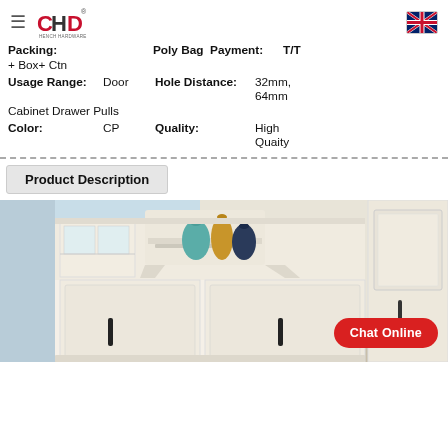CHD Hardware logo and UK flag navigation header
Packing: Poly Bag Payment: T/T + Box+ Ctn
Usage Range: Door Hole Distance: 32mm, 64mm
Cabinet Drawer Pulls
Color: CP Quality: High Quaity
Product Description
[Figure (photo): White kitchen cabinets with decorative hood and black drawer pulls, with colorful vases on top shelf. Chat Online button overlay.]